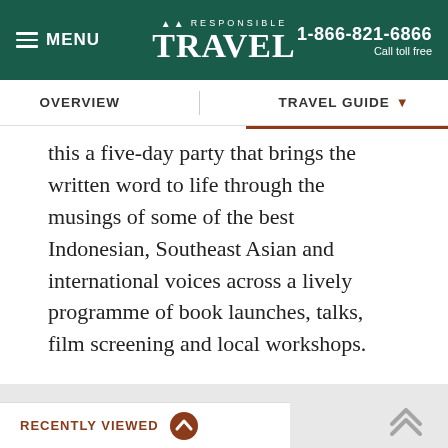MENU | Responsible Travel | 1-866-821-6866 Call toll free
OVERVIEW | TRAVEL GUIDE
this a five-day party that brings the written word to life through the musings of some of the best Indonesian, Southeast Asian and international voices across a lively programme of book launches, talks, film screening and local workshops.
MORE ABOUT INDONESIA
RECENTLY VIEWED